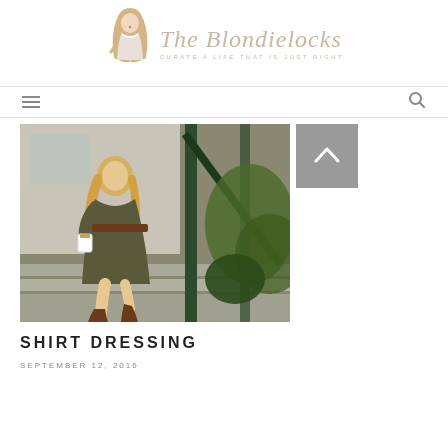[Figure (logo): The Blondielocks blog logo with illustrated woman figure and italic script text reading 'The Blondielocks' with tagline 'CURATE A LIFE THAT IS JUST RIGHT']
[Figure (screenshot): Navigation bar with hamburger menu icon on left and search icon on right]
[Figure (photo): Blonde woman in olive green shirt dress with brown leather belt and boots, sitting on outdoor steps holding a coffee cup, with green railing and plants in background]
SHIRT DRESSING
SEPTEMBER 12, 2016